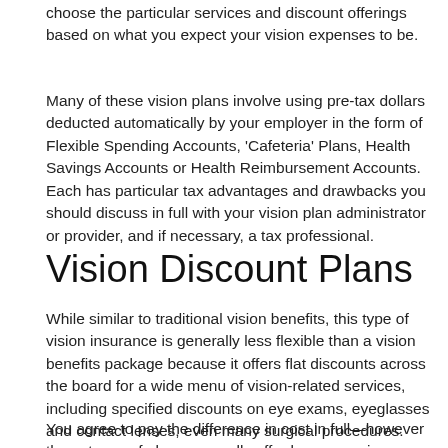choose the particular services and discount offerings based on what you expect your vision expenses to be.
Many of these vision plans involve using pre-tax dollars deducted automatically by your employer in the form of Flexible Spending Accounts, 'Cafeteria' Plans, Health Savings Accounts or Health Reimbursement Accounts. Each has particular tax advantages and drawbacks you should discuss in full with your vision plan administrator or provider, and if necessary, a tax professional.
Vision Discount Plans
While similar to traditional vision benefits, this type of vision insurance is generally less flexible than a vision benefits package because it offers flat discounts across the board for a wide menu of vision-related services, including specified discounts on eye exams, eyeglasses and contact lenses, even many surgical procedures.
You agree to pay the difference in cost in full—however these types of plans generally offer lower premiums than traditional